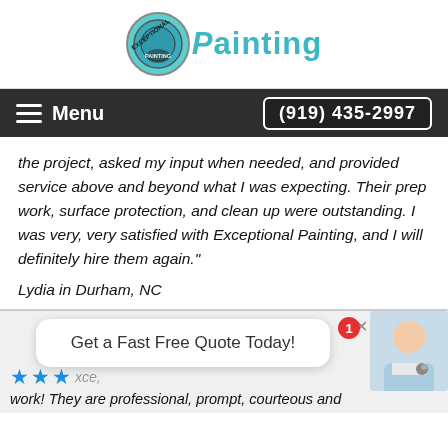[Figure (logo): Exceptional Painting logo: teal/blue circular stamp image with 'EXCEPTIONAL' text, next to the word 'Painting' in teal stylized font]
Menu   (919) 435-2997
the project, asked my input when needed, and provided service above and beyond what I was expecting. Their prep work, surface protection, and clean up were outstanding. I was very, very satisfied with Exceptional Painting, and I will definitely hire them again."
Lydia in Durham, NC
Get a Fast Free Quote Today!
★★★
work! They are professional, prompt, courteous and